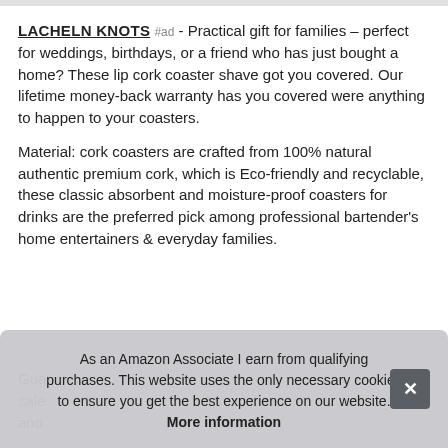LACHELN KNOTS #ad - Practical gift for families – perfect for weddings, birthdays, or a friend who has just bought a home? These lip cork coaster shave got you covered. Our lifetime money-back warranty has you covered were anything to happen to your coasters.
Material: cork coasters are crafted from 100% natural authentic premium cork, which is Eco-friendly and recyclable, these classic absorbent and moisture-proof coasters for drinks are the preferred pick among professional bartender's home entertainers & everyday families.
Gua[ranteed]... sale[s]... and[...]
As an Amazon Associate I earn from qualifying purchases. This website uses the only necessary cookies to ensure you get the best experience on our website. More information